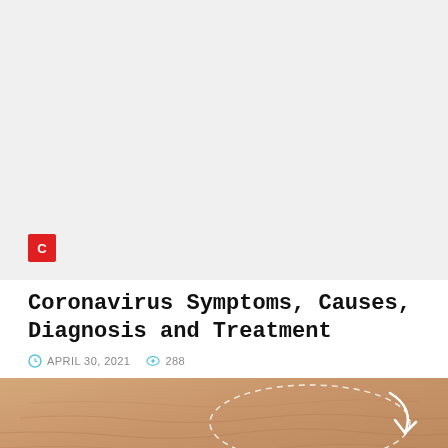[Figure (other): Gray advertisement banner area]
Coronavirus Symptoms, Causes, Diagnosis and Treatment
APRIL 30, 2021  288
[Figure (photo): Close-up photo of human skin with a dashed circular annotation and a white arrow pointing to a skin feature]